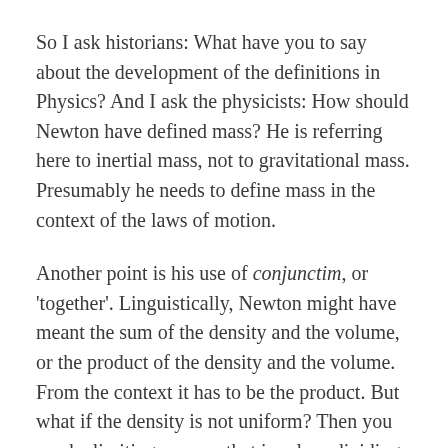So I ask historians: What have you to say about the development of the definitions in Physics? And I ask the physicists: How should Newton have defined mass? He is referring here to inertial mass, not to gravitational mass. Presumably he needs to define mass in the context of the laws of motion.
Another point is his use of conjunctim, or 'together'. Linguistically, Newton might have meant the sum of the density and the volume, or the product of the density and the volume. From the context it has to be the product. But what if the density is not uniform? Then you need a limiting process that involves dividing the body into a large number of small bits whose density is approximately constant, calculating the mass of each bit, and adding. The limiting process consists of considering finer and finer